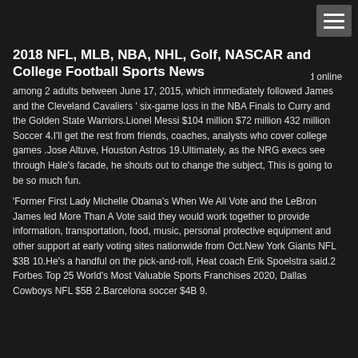2018 NFL, MLB, NBA, NHL, Golf, NASCAR and College Football Sports News
James may be explained in part by the fact that the poll was conducted online among 2 adults between June 17, 2015, which immediately followed James and the Cleveland Cavaliers ' six-game loss in the NBA Finals to Curry and the Golden State Warriors.Lionel Messi $104 million $72 million 432 million Soccer 4.I'll get the rest from friends, coaches, analysts who cover college games .Jose Altuve, Houston Astros 19.Ultimately, as the NRG execs see through Hale's facade, he shouts out to change the subject, This is going to be so much fun.
'Former First Lady Michelle Obama's When We All Vote and the LeBron James led More Than A Vote said they would work together to provide information, transportation, food, music, personal protective equipment and other support at early voting sites nationwide from Oct.New York Giants NFL $3B 10.He's a handful on the pick-and-roll, Heat coach Erik Spoelstra said.2 Forbes Top 25 World's Most Valuable Sports Franchises 2020, Dallas Cowboys NFL $5B 2.Barcelona soccer $4B 9.